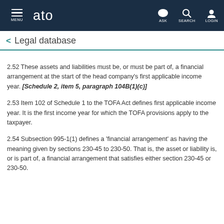MENU  ato  ASK  SEARCH  LOGIN
Legal database
2.52 These assets and liabilities must be, or must be part of, a financial arrangement at the start of the head company's first applicable income year. [Schedule 2, item 5, paragraph 104B(1)(c)]
2.53 Item 102 of Schedule 1 to the TOFA Act defines first applicable income year. It is the first income year for which the TOFA provisions apply to the taxpayer.
2.54 Subsection 995-1(1) defines a 'financial arrangement' as having the meaning given by sections 230-45 to 230-50. That is, the asset or liability is, or is part of, a financial arrangement that satisfies either section 230-45 or 230-50.